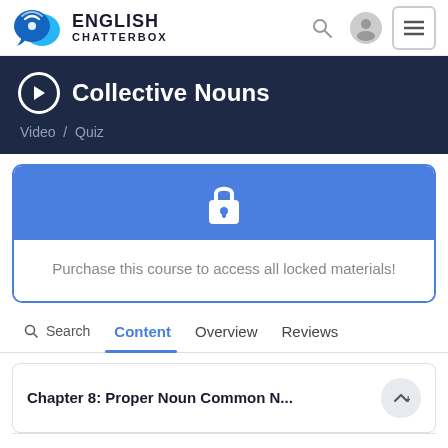[Figure (logo): English Chatterbox logo with two speech bubble icons in blue]
ENGLISH CHATTERBOX
Collective Nouns
Video / Quiz
Purchase this course to access all locked materials!
Search  Content  Overview  Reviews
Chapter 8: Proper Noun Common N...
Chapter 9: Genders